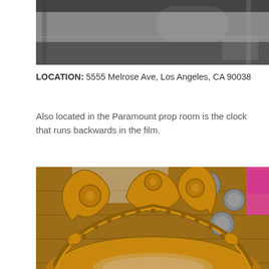[Figure (photo): Partial top photo, cropped, showing a dark metallic or furniture surface, appears to be part of a prop or set piece in a storage or studio environment.]
LOCATION: 5555 Melrose Ave, Los Angeles, CA 90038
Also located in the Paramount prop room is the clock that runs backwards in the film.
[Figure (photo): Photo of an ornate golden/bronze clock top with decorative scrollwork and carved architectural ornamentation, located in the Paramount prop room. The background shows wooden walls with round medallion decorations and a pink sign partially visible on the right.]